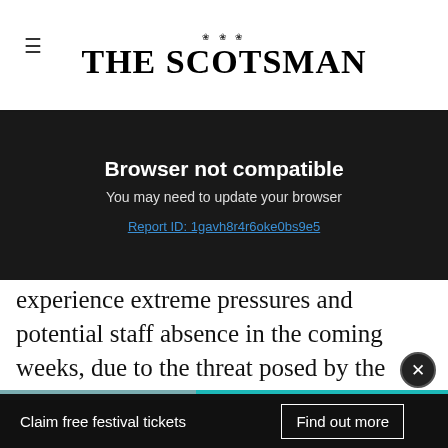THE SCOTSMAN
Browser not compatible
You may need to update your browser
Report ID: 1gavh8r4r6oke0bs9e5
experience extreme pressures and potential staff absence in the coming weeks, due to the threat posed by the Omicron variant.
Read More
Covid Scotland: Record cases. posted in single day
READ MORE
Claim free festival tickets   Find out more